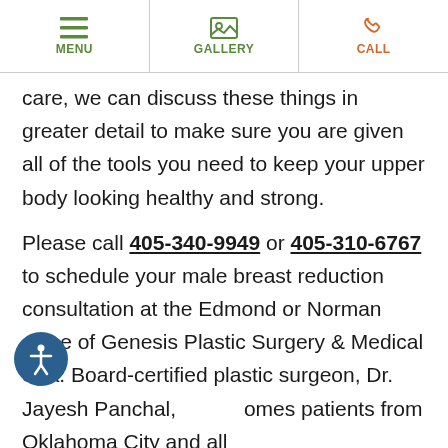MENU  GALLERY  CALL
care, we can discuss these things in greater detail to make sure you are given all of the tools you need to keep your upper body looking healthy and strong.
Please call 405-340-9949 or 405-310-6767 to schedule your male breast reduction consultation at the Edmond or Norman office of Genesis Plastic Surgery & Medical Spa. Board-certified plastic surgeon, Dr. Jayesh Panchal, welcomes patients from Oklahoma City and all surrounding areas.